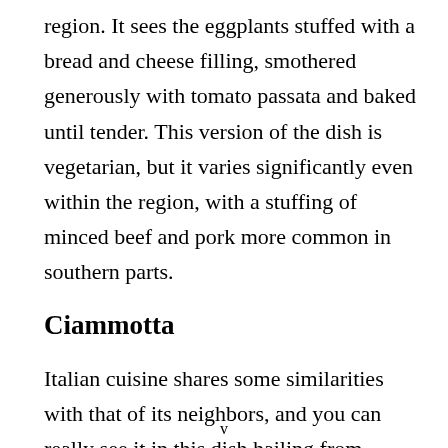region. It sees the eggplants stuffed with a bread and cheese filling, smothered generously with tomato passata and baked until tender. This version of the dish is vegetarian, but it varies significantly even within the region, with a stuffing of minced beef and pork more common in southern parts.
Ciammotta
Italian cuisine shares some similarities with that of its neighbors, and you can really see it in this dish hailing from Basilicata. Ciammotta, commonly known as
v